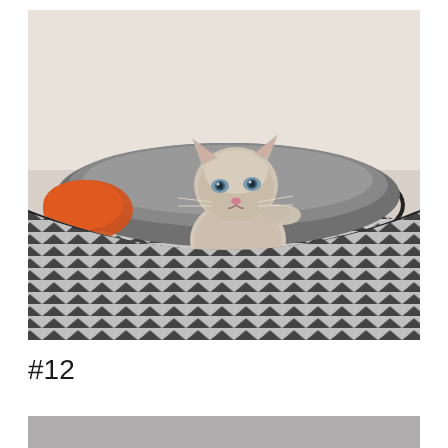[Figure (photo): A small fluffy cream/beige kitten with blue-gray eyes peering over the edge of a round oval pet bed with herringbone pattern fabric in gray and white, with black piping. An orange toy or blanket is visible inside the bed on the left. The background shows a light-colored wall and wooden floor.]
#12
[Figure (photo): Partial view of another photo at the bottom of the page, mostly cropped.]